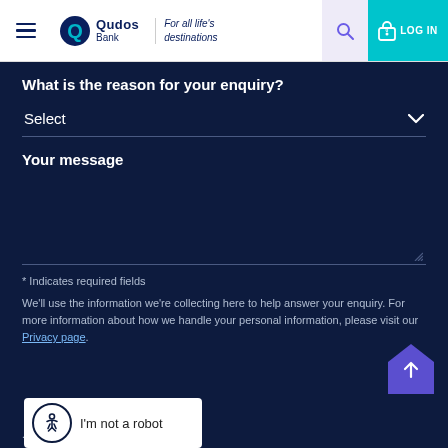Qudos Bank – For all life's destinations
What is the reason for your enquiry?
Select
Your message
* Indicates required fields
We'll use the information we're collecting here to help answer your enquiry. For more information about how we handle your personal information, please visit our Privacy page.
I'm not a robot